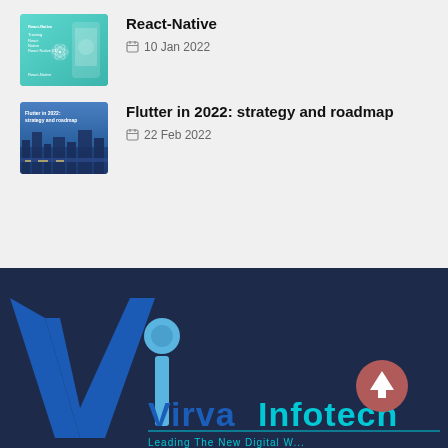[Figure (illustration): React-Native blog post thumbnail with teal background, react logo and phone mockup]
React-Native
10 Jan 2022
[Figure (illustration): Flutter in 2022 blog post thumbnail with dark blue background and cityscape]
Flutter in 2022: strategy and roadmap
22 Feb 2022
[Figure (logo): Virva Infotech logo on dark navy background with large V lettermark and cyan/blue text. Tagline: Leading The New Digital W...]